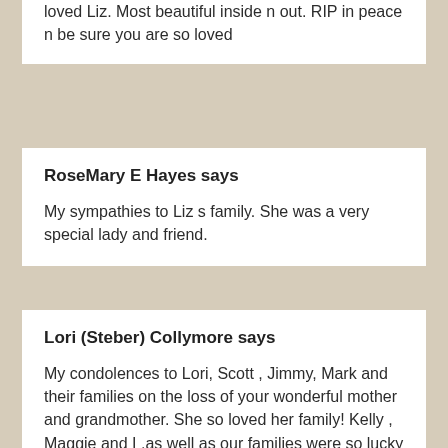loved Liz. Most beautiful inside n out. RIP in peace n be sure you are so loved
RoseMary E Hayes says
My sympathies to Liz s family. She was a very special lady and friend.
Lori (Steber) Collymore says
My condolences to Lori, Scott , Jimmy, Mark and their families on the loss of your wonderful mother and grandmother. She so loved her family! Kelly , Maggie and I ,as well as our families were so lucky to be considered a part of it. Liz was such a kind and caring person she never